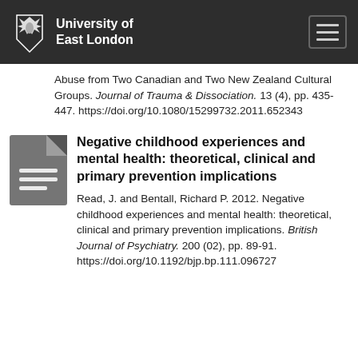University of East London
Abuse from Two Canadian and Two New Zealand Cultural Groups. Journal of Trauma & Dissociation. 13 (4), pp. 435-447. https://doi.org/10.1080/15299732.2011.652343
Negative childhood experiences and mental health: theoretical, clinical and primary prevention implications
Read, J. and Bentall, Richard P. 2012. Negative childhood experiences and mental health: theoretical, clinical and primary prevention implications. British Journal of Psychiatry. 200 (02), pp. 89-91. https://doi.org/10.1192/bjp.bp.111.096727